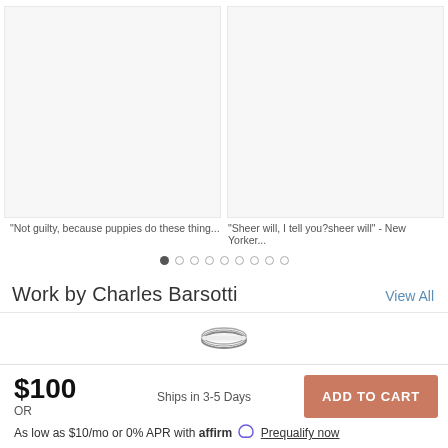[Figure (photo): Two blank/white image panels side by side in a carousel]
"Not guilty, because puppies do these thing..."
"Sheer will, I tell you?sheer will" - New Yorker...
Work by Charles Barsotti
View All
[Figure (illustration): Partial view of a product (appears to be a ring or bangle)]
$100
OR
Ships in 3-5 Days
ADD TO CART
As low as $10/mo or 0% APR with affirm Prequalify now